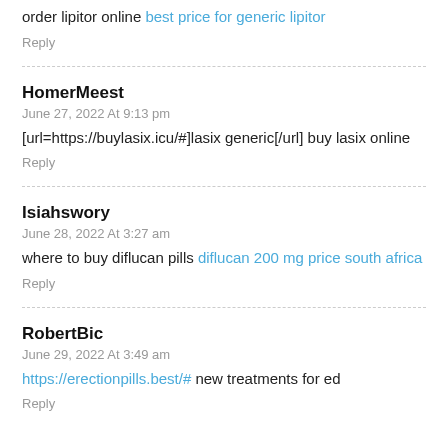order lipitor online best price for generic lipitor
Reply
HomerMeest
June 27, 2022 At 9:13 pm
[url=https://buylasix.icu/#]lasix generic[/url] buy lasix online
Reply
Isiahswory
June 28, 2022 At 3:27 am
where to buy diflucan pills diflucan 200 mg price south africa
Reply
RobertBic
June 29, 2022 At 3:49 am
https://erectionpills.best/# new treatments for ed
Reply